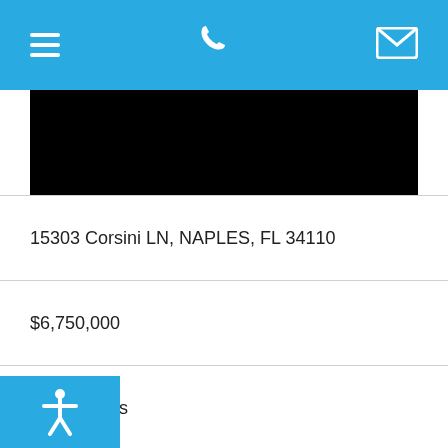Navigation bar with menu, phone, and mail icons
[Figure (photo): Black redacted photo of property]
15303 Corsini LN, NAPLES, FL 34110
$6,750,000
5 Beds
5 | 1 Baths
6,376 SqFt
Listing No. 222033487
Property Type: House